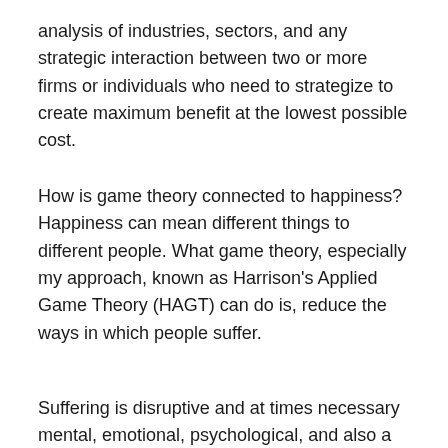analysis of industries, sectors, and any strategic interaction between two or more firms or individuals who need to strategize to create maximum benefit at the lowest possible cost.
How is game theory connected to happiness? Happiness can mean different things to different people. What game theory, especially my approach, known as Harrison’s Applied Game Theory (HAGT) can do is, reduce the ways in which people suffer.
Suffering is disruptive and at times necessary mental, emotional, psychological, and also a spiritual experience of unpleasantness and aversion associated with harm or threat of harm. On the positive side, suffering can